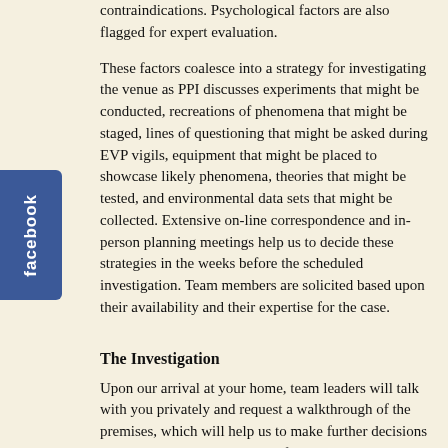contraindications. Psychological factors are also flagged for expert evaluation.
These factors coalesce into a strategy for investigating the venue as PPI discusses experiments that might be conducted, recreations of phenomena that might be staged, lines of questioning that might be asked during EVP vigils, equipment that might be placed to showcase likely phenomena, theories that might be tested, and environmental data sets that might be collected. Extensive on-line correspondence and in-person planning meetings help us to decide these strategies in the weeks before the scheduled investigation. Team members are solicited based upon their availability and their expertise for the case.
The Investigation
Upon our arrival at your home, team leaders will talk with you privately and request a walkthrough of the premises, which will help us to make further decisions about equipment placement. Afterward, one or more of our team members may conduct a formal interview with the occupants. Not only does the formal interview lead to a useful assessment of the client's needs and wishes for the investigation, it will also give us the opportunity to ask follow-up questions and clarify details provided in the